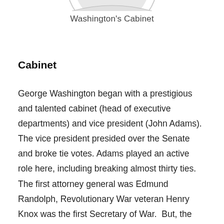[Figure (photo): Partial bottom of a portrait image (Washington's Cabinet illustration), cropped at top of page]
Washington's Cabinet
Cabinet
George Washington began with a prestigious and talented cabinet (head of executive departments) and vice president (John Adams).  The vice president presided over the Senate and broke tie votes. Adams played an active role here, including breaking almost thirty ties.  The first attorney general was Edmund Randolph, Revolutionary War veteran Henry Knox was the first Secretary of War.  But, the most notable was Alexander Hamilton, who was Secretary of